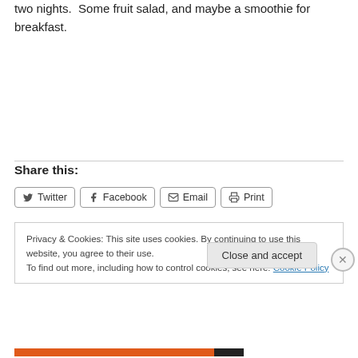two nights.  Some fruit salad, and maybe a smoothie for breakfast.
Share this:
Twitter  Facebook  Email  Print
Privacy & Cookies: This site uses cookies. By continuing to use this website, you agree to their use.
To find out more, including how to control cookies, see here: Cookie Policy
Close and accept